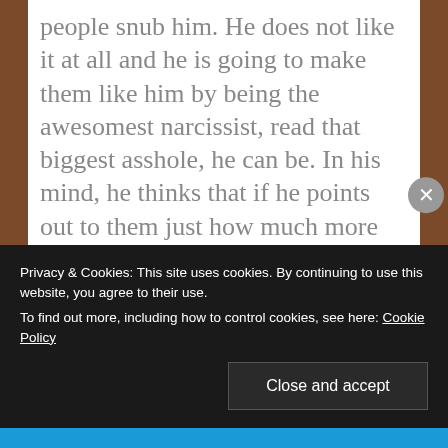people snub him. He does not like it at all and he is going to make them like him by being the awesomest narcissist, read that biggest asshole, he can be. In his mind, he thinks that if he points out to them just how much more money they've squeezed from the poor and middle class, then they'll think, By Jove, this Pussy
Privacy & Cookies: This site uses cookies. By continuing to use this website, you agree to their use. To find out more, including how to control cookies, see here: Cookie Policy
Close and accept